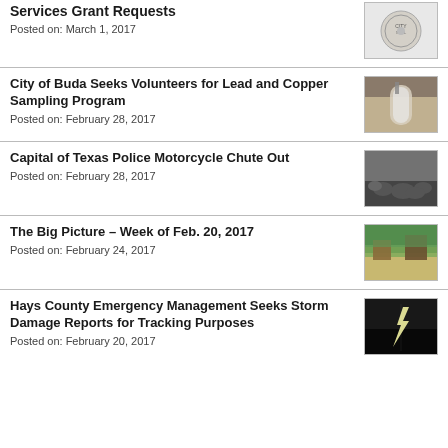Services Grant Requests
Posted on: March 1, 2017
City of Buda Seeks Volunteers for Lead and Copper Sampling Program
Posted on: February 28, 2017
Capital of Texas Police Motorcycle Chute Out
Posted on: February 28, 2017
The Big Picture – Week of Feb. 20, 2017
Posted on: February 24, 2017
Hays County Emergency Management Seeks Storm Damage Reports for Tracking Purposes
Posted on: February 20, 2017